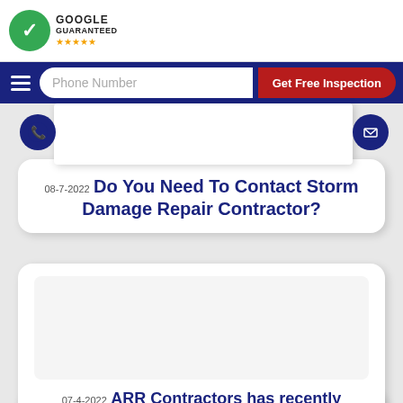[Figure (logo): Google Guaranteed badge with green circle checkmark and gold stars]
[Figure (screenshot): Blue navigation bar with hamburger menu, phone number input field, and Get Free Inspection red button]
[Figure (illustration): Blue circle with phone icon]
[Figure (illustration): Blue circle with email envelope icon]
08-7-2022 Do You Need To Contact Storm Damage Repair Contractor?
[Figure (screenshot): Article card with image placeholder area]
07-4-2022 ARR Contractors has recently received Google's guarantee.Top Tips for Finding Quality Local Roofing Services